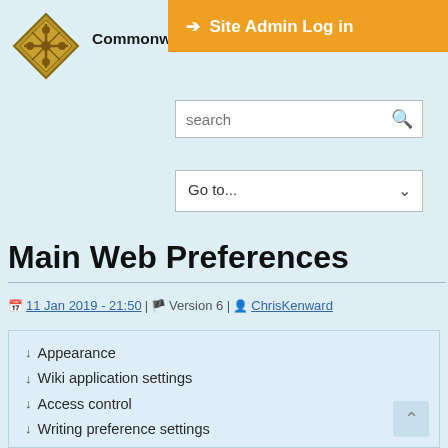Site Admin Log in
[Figure (logo): Commonwealth Association of Law Reform Agencies diamond-shaped gold logo]
Commonwealth Association of Law Reform Agen...
search
Go to...
Main Web Preferences
11 Jan 2019 - 21:50 | Version 6 | ChrisKenward
↓ Appearance
↓ Wiki application settings
↓ Access control
↓ Writing preference settings
↓ Hiding preference settings
↓ Order of preference settings